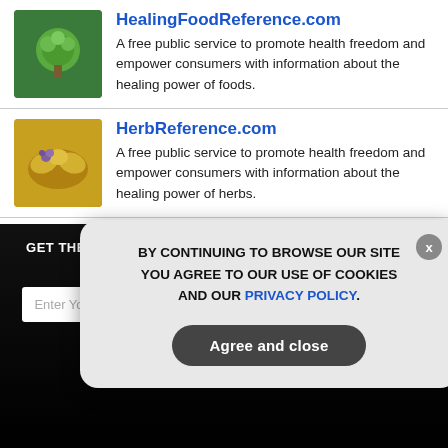[Figure (photo): Broccoli/vegetable image for HealingFoodReference.com]
HealingFoodReference.com
A free public service to promote health freedom and empower consumers with information about the healing power of foods.
[Figure (photo): Herbs/spices image for HerbReference.com]
HerbReference.com
A free public service to promote health freedom and empower consumers with information about the healing power of herbs.
[Figure (photo): Supplement bottles image for SupplementReference.com]
SupplementReference.com
A free public service to promote health freedom and empower consumers with information about the healing power of supplements.
[Figure (photo): Person in store image for NutrientReference.com]
NutrientReference.com
A free public service to promote health freedom and empower
GET THE WORLD'S BEST NATURAL HEALTH NEWSLETTER DELIVERED STRAIGHT TO YOUR INBOX
BY CONTINUING TO BROWSE OUR SITE YOU AGREE TO OUR USE OF COOKIES AND OUR PRIVACY POLICY.
Agree and close